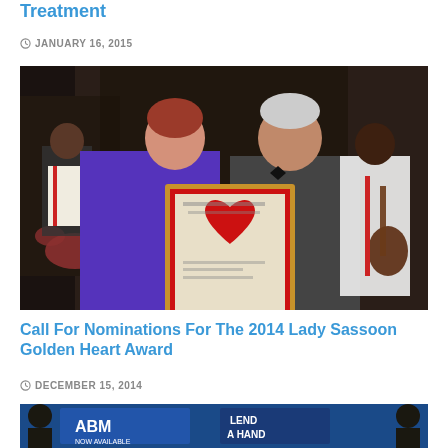Treatment
JANUARY 16, 2015
[Figure (photo): Two people holding a framed award certificate with a red heart design at a formal event, with a band playing in the background.]
Call For Nominations For The 2014 Lady Sassoon Golden Heart Award
DECEMBER 15, 2014
[Figure (photo): People at an event with ABM and Lend a Hand signage visible in the background.]